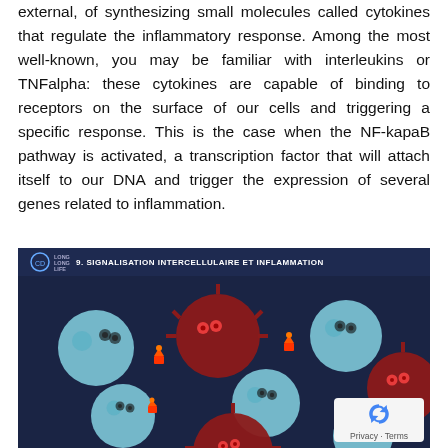external, of synthesizing small molecules called cytokines that regulate the inflammatory response. Among the most well-known, you may be familiar with interleukins or TNFalpha: these cytokines are capable of binding to receptors on the surface of our cells and triggering a specific response. This is the case when the NF-kapaB pathway is activated, a transcription factor that will attach itself to our DNA and trigger the expression of several genes related to inflammation.
[Figure (illustration): Illustration titled '9. SIGNALISATION INTERCELLULAIRE ET INFLAMMATION' showing cartoon-style cells on a dark navy background. Large round light-blue cells with dot eyes and dark red/maroon spiked cells with glowing red alarm signals between them, depicting intercellular signaling and inflammation.]